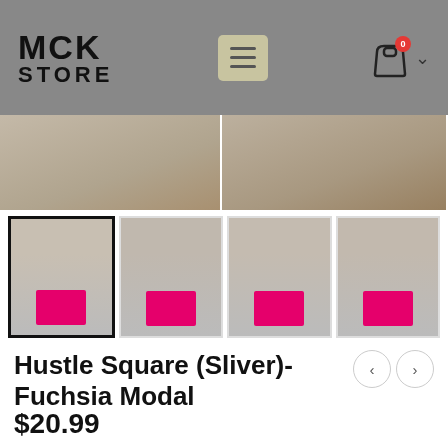MCK STORE
[Figure (photo): Cropped product photo strip showing two side-by-side panels of a model wearing fuchsia modal briefs against a grey wall background]
[Figure (photo): Four thumbnail photos of a male model wearing bright fuchsia/pink Hustle Square (Sliver) modal briefs from different angles — front-side, back, front, and side-right — against a grey textured wall background. First thumbnail is selected with a dark border.]
Hustle Square (Sliver)- Fuchsia Modal
$20.99
Free of restriction you are let loose to stretch further than ever before. This is Hustle Square (Sliver)